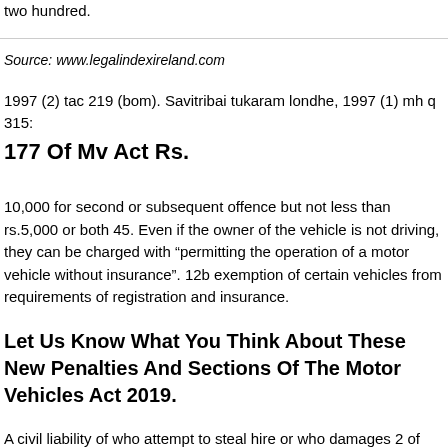two hundred.
Source: www.legalindexireland.com
1997 (2) tac 219 (bom). Savitribai tukaram londhe, 1997 (1) mh q 315:
177 Of Mv Act Rs.
10,000 for second or subsequent offence but not less than rs.5,000 or both 45. Even if the owner of the vehicle is not driving, they can be charged with “permitting the operation of a motor vehicle without insurance”. 12b exemption of certain vehicles from requirements of registration and insurance.
Let Us Know What You Think About These New Penalties And Sections Of The Motor Vehicles Act 2019.
A civil liability of who attempt to steal hire or who damages 2 of 1988